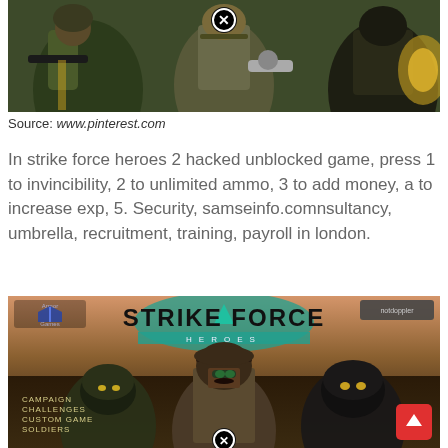[Figure (illustration): Stylized cartoon illustration of military soldiers with weapons — game art from Strike Force Heroes. A close-up button (X) overlay at top center.]
Source: www.pinterest.com
In strike force heroes 2 hacked unblocked game, press 1 to invincibility, 2 to unlimited ammo, 3 to add money, a to increase exp, 5. Security, samseinfo.comnsultancy, umbrella, recruitment, training, payroll in london.
[Figure (screenshot): Screenshot of the Strike Force Heroes game title screen. Armor Games logo top left, NotDoppler button top right. Title reads STRIKE FORCE with HEROES subtitle. Menu items: CAMPAIGN, CHALLENGES, CUSTOM GAME, SOLDIERS. Scroll-up arrow button bottom right. X close button bottom center.]